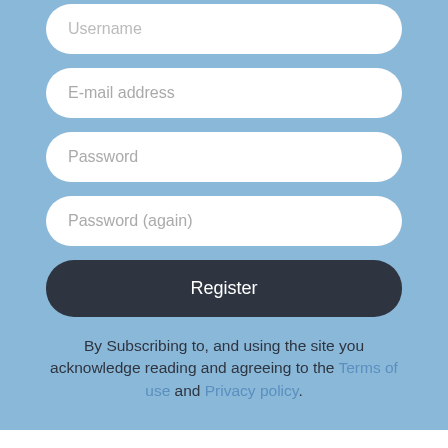[Figure (screenshot): Registration form with input fields: Username (partial, cropped at top), E-mail address, Password, Password (again), and a Register button]
By Subscribing to, and using the site you acknowledge reading and agreeing to the Terms of use and Privacy policy.
[Figure (logo): law.co.il logo in oval border]
[Figure (logo): PEARL COHEN logo on dark background]
law.co.il is run since 1996 by the Cyber, Privacy & Copyright